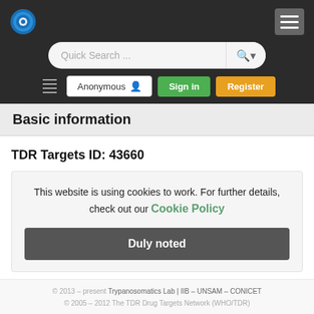Quick Search ... [search bar] | Anonymous | Sign in | Register
Basic information
TDR Targets ID: 43660
This website is using cookies to work. For further details, check out our Cookie Policy
Duly noted
ane
© 2013 – present Trypanosomatics Lab | IIB – UNSAM – CONICET © 2005 – 2012 The TDR Drug Targets Network (WHO/TDR)